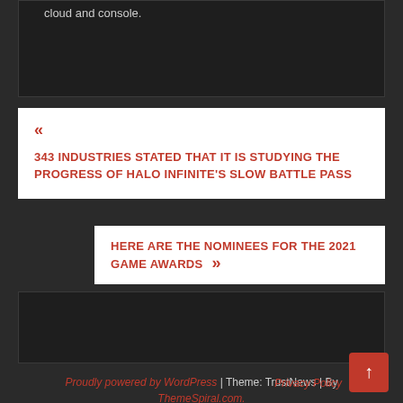cloud and console.
« 343 INDUSTRIES STATED THAT IT IS STUDYING THE PROGRESS OF HALO INFINITE'S SLOW BATTLE PASS
HERE ARE THE NOMINEES FOR THE 2021 GAME AWARDS »
Proudly powered by WordPress | Theme: TrustNews | By ThemeSpiral.com.
Privacy Policy